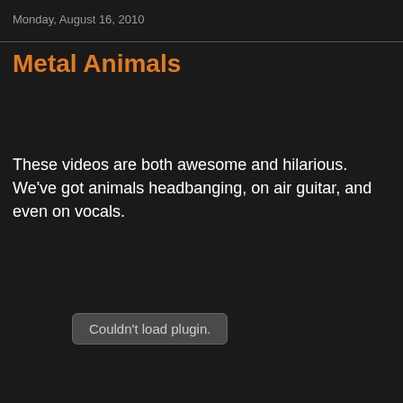Monday, August 16, 2010
Metal Animals
These videos are both awesome and hilarious. We've got animals headbanging, on air guitar, and even on vocals.
[Figure (other): Couldn't load plugin. — placeholder for an embedded video plugin that failed to load]